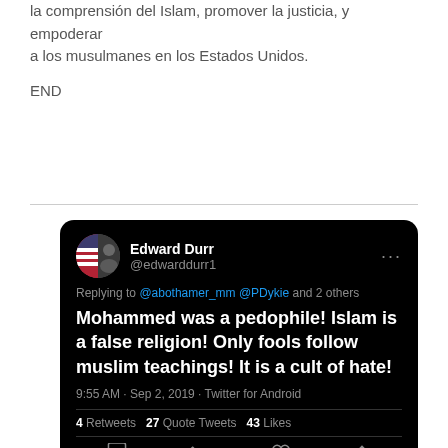la comprensión del Islam, promover la justicia, y empoderar a los musulmanes en los Estados Unidos.
END
[Figure (screenshot): Screenshot of a tweet by Edward Durr (@edwarddurr1) replying to @abothamer_mm @PDykie and 2 others. Tweet text: 'Mohammed was a pedophile! Islam is a false religion! Only fools follow muslim teachings! It is a cult of hate!' Timestamp: 9:55 AM · Sep 2, 2019 · Twitter for Android. Stats: 4 Retweets, 27 Quote Tweets, 43 Likes.]